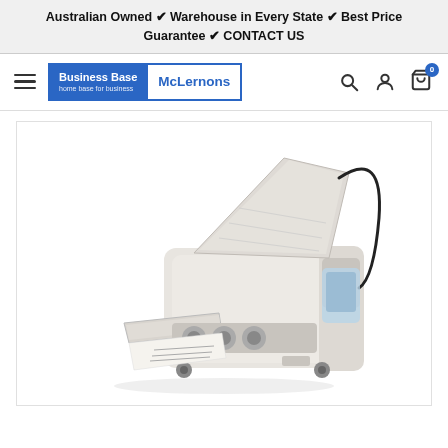Australian Owned ✔ Warehouse in Every State ✔ Best Price Guarantee ✔ CONTACT US
[Figure (logo): Business Base McLernons logo — blue block with white text 'Business Base' and tagline 'home base for business', adjacent white block with blue text 'McLernons', all within a blue border rectangle]
[Figure (photo): White paper folding machine (letter folder) shown at an angle, with paper tray open and a cord visible, on a white background]